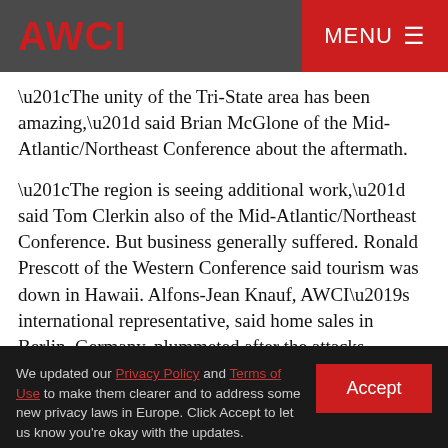AWCI  MENU ☰
“The unity of the Tri-State area has been amazing,” said Brian McGlone of the Mid-Atlantic/Northeast Conference about the aftermath.
“The region is seeing additional work,” said Tom Clerkin also of the Mid-Atlantic/Northeast Conference. But business generally suffered. Ronald Prescott of the Western Conference said tourism was down in Hawaii. Alfons-Jean Knauf, AWCI’s international representative, said home sales in Berlin, Germany, plummeted after the attacks. Contractors working on government and military projects saw their crew
We updated our Privacy Policy and Terms of Use to make them clearer and to address some new privacy laws in Europe. Click Accept to let us know you're okay with the updates.